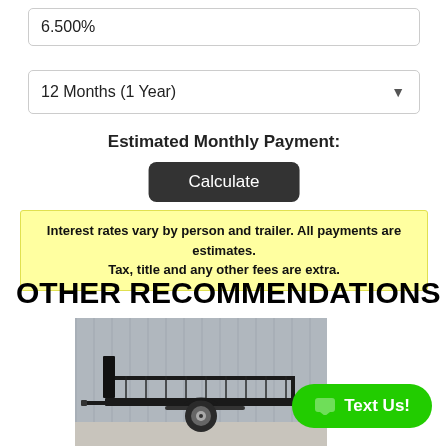6.500%
12 Months (1 Year)
Estimated Monthly Payment:
Calculate
Interest rates vary by person and trailer. All payments are estimates. Tax, title and any other fees are extra.
OTHER RECOMMENDATIONS
[Figure (photo): A black utility trailer with single axle and mesh sides parked on a concrete floor against a grey metal wall background.]
Text Us!